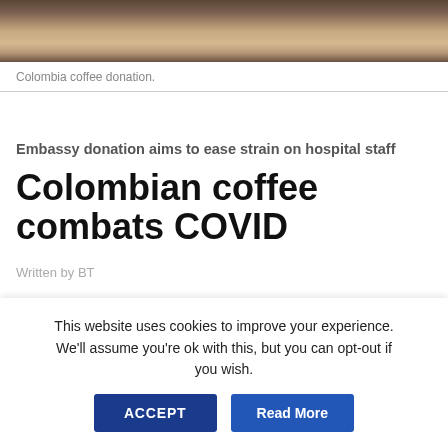[Figure (photo): Cropped bottom portion of a photo showing people at what appears to be an indoor setting with furniture visible]
Colombia coffee donation.
Embassy donation aims to ease strain on hospital staff
Colombian coffee combats COVID
Written by BT
This website uses cookies to improve your experience. We'll assume you're ok with this, but you can opt-out if you wish.  ACCEPT  Read More